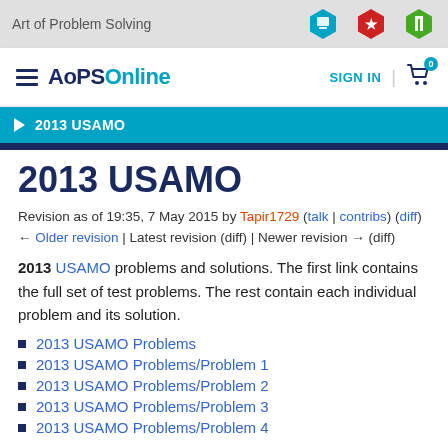Art of Problem Solving
AoPS Online  SIGN IN  0
2013 USAMO
2013 USAMO
Revision as of 19:35, 7 May 2015 by Tapir1729 (talk | contribs) (diff) ← Older revision | Latest revision (diff) | Newer revision → (diff)
2013 USAMO problems and solutions. The first link contains the full set of test problems. The rest contain each individual problem and its solution.
2013 USAMO Problems
2013 USAMO Problems/Problem 1
2013 USAMO Problems/Problem 2
2013 USAMO Problems/Problem 3
2013 USAMO Problems/Problem 4